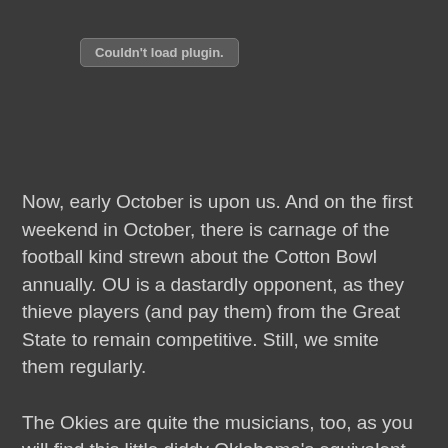[Figure (other): Plugin placeholder box with text 'Couldn't load plugin.']
Now, early October is upon us. And on the first weekend in October, there is carnage of the football kind strewn about the Cotton Bowl annually. OU is a dastardly opponent, as they thieve players (and pay them) from the Great State to remain competitive. Still, we smite them regularly.

The Okies are quite the musicians, too, as you will find this little diddy Oklahoma's equivalent to EWF's "September." Let's just call it, "October:"